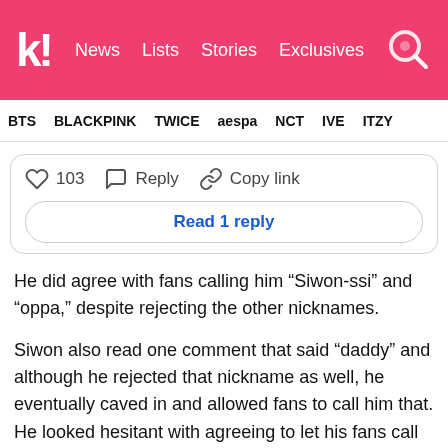k! News Lists Stories Exclusives
BTS BLACKPINK TWICE aespa NCT IVE ITZY
[Figure (screenshot): Comment interaction row showing heart icon with 103 likes, Reply button, Copy link button, and a 'Read 1 reply' button below]
He did agree with fans calling him “Siwon-ssi” and “oppa,” despite rejecting the other nicknames.
Siwon also read one comment that said “daddy” and although he rejected that nickname as well, he eventually caved in and allowed fans to call him that. He looked hesitant with agreeing to let his fans call him that, but he just laughed it off and listed word that rhyme with the word.